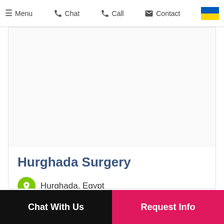Menu  Chat  Call  Contact
Hurghada Surgery
Hurghada, Egypt
★★★★★ (10 reviews)
Chat With Us
Request Info